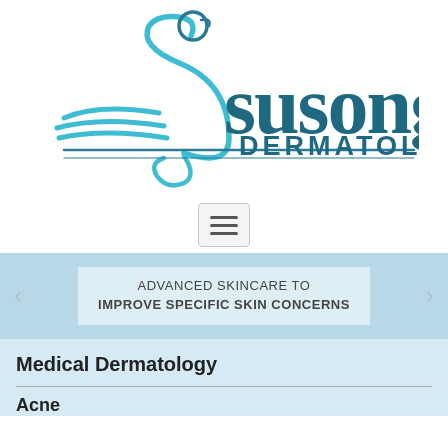[Figure (logo): Susong Dermatology logo: teal swan/S-curve bird illustration on the left with horizontal lines, and 'Susong DERMATOLOGY' text in teal to the right.]
[Figure (other): Hamburger menu button (three horizontal lines) inside a rounded rectangle border.]
ADVANCED SKINCARE TO IMPROVE SPECIFIC SKIN CONCERNS
Medical Dermatology
Acne